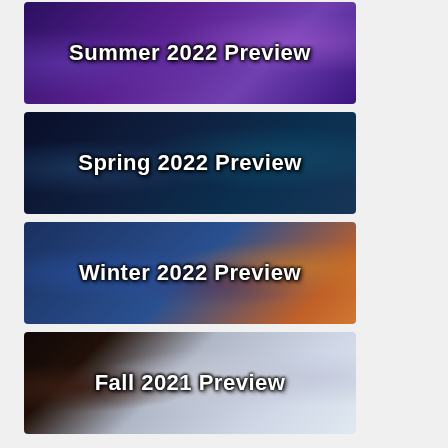[Figure (illustration): Banner image for Summer 2022 Preview with anime characters on purple/violet background]
[Figure (illustration): Banner image for Spring 2022 Preview with anime characters on dark blue/teal background]
[Figure (illustration): Banner image for Winter 2022 Preview with anime characters on blue and orange background]
[Figure (illustration): Banner image for Fall 2021 Preview with anime characters on dark and light grey-white background]